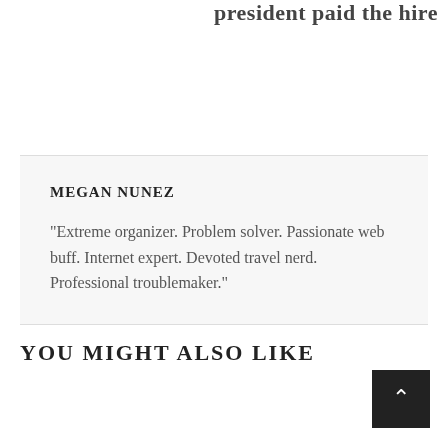president paid the hire
MEGAN NUNEZ

"Extreme organizer. Problem solver. Passionate web buff. Internet expert. Devoted travel nerd. Professional troublemaker."
YOU MIGHT ALSO LIKE